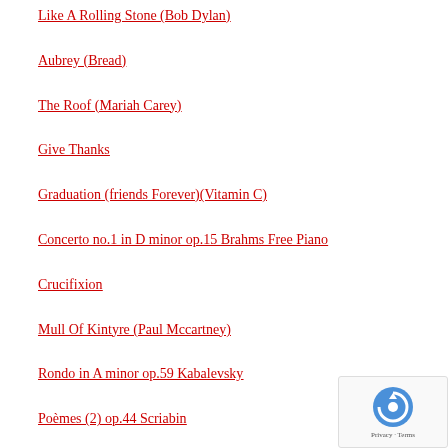Like A Rolling Stone (Bob Dylan)
Aubrey (Bread)
The Roof (Mariah Carey)
Give Thanks
Graduation (friends Forever)(Vitamin C)
Concerto no.1 in D minor op.15 Brahms Free Piano
Crucifixion
Mull Of Kintyre (Paul Mccartney)
Rondo in A minor op.59 Kabalevsky
Poèmes (2) op.44 Scriabin
Billy Joel
Berceuse héroïque, pour rendre hommage au roi Albert I de Belgique et à ses soldats Debussy
Temptation – Diana Krall